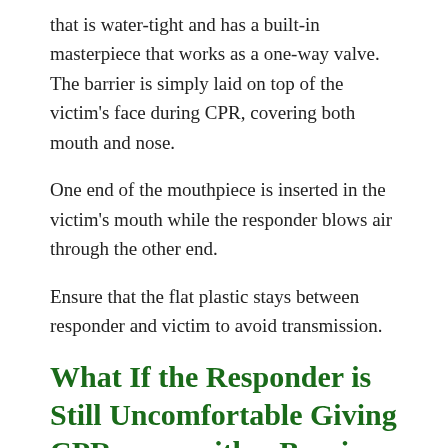that is water-tight and has a built-in masterpiece that works as a one-way valve. The barrier is simply laid on top of the victim's face during CPR, covering both mouth and nose.
One end of the mouthpiece is inserted in the victim's mouth while the responder blows air through the other end.
Ensure that the flat plastic stays between responder and victim to avoid transmission.
What If the Responder is Still Uncomfortable Giving CPR, even with a Barrier Device?